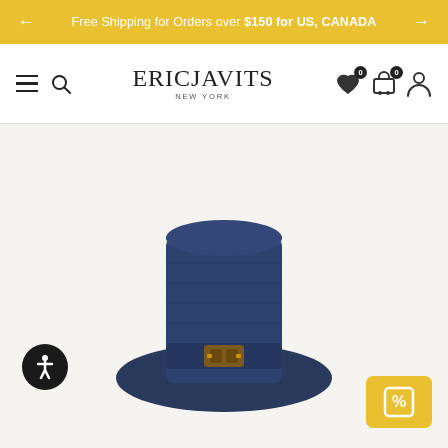Free Shipping for Orders over $150 for US, CANADA
[Figure (logo): Eric Javits New York logo with navigation icons including hamburger menu, search, wishlist, cart, and account icons]
[Figure (photo): Navy blue wide-brim sun hat with a tortoiseshell buckle band, photographed from above against a light beige background. Accessibility icon in bottom-left. Percentage/discount button in bottom-right.]